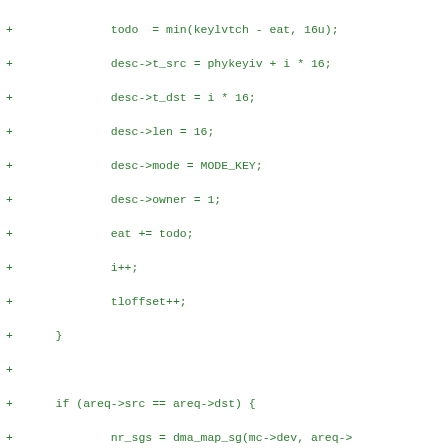[Figure (screenshot): Source code diff showing C code lines with '+' markers, displaying DMA mapping and scatter-gather list operations in green monospace font on white background.]